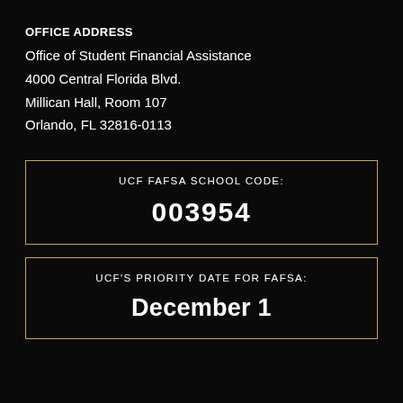OFFICE ADDRESS
Office of Student Financial Assistance
4000 Central Florida Blvd.
Millican Hall, Room 107
Orlando, FL 32816-0113
UCF FAFSA SCHOOL CODE:
003954
UCF'S PRIORITY DATE FOR FAFSA:
December 1